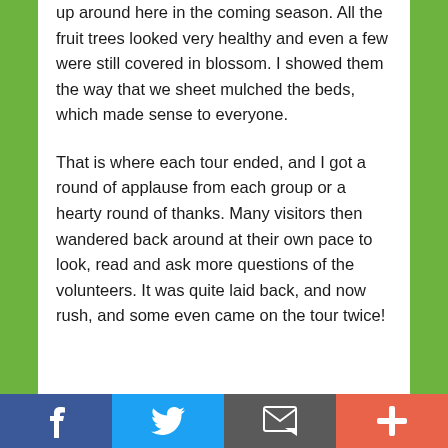up around here in the coming season.  All the fruit trees looked very healthy and even a few were still covered in blossom.  I showed them the way that we sheet mulched the beds, which made sense to everyone.
That is where each tour ended, and I got a round of applause from each group or a hearty round of thanks.  Many visitors then wandered back around at their own pace to look, read and ask more questions of the volunteers.  It was quite laid back, and now rush, and some even came on the tour twice!
[Figure (other): Social sharing bar with four buttons: Facebook (blue), Twitter (light blue), Email/envelope (dark grey), and a plus/more button (orange-red)]